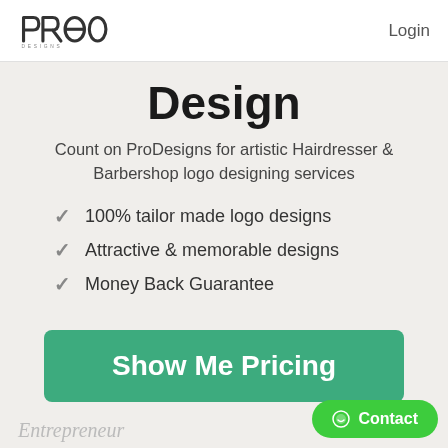PRO DESIGNS | Login
Design
Count on ProDesigns for artistic Hairdresser & Barbershop logo designing services
100% tailor made logo designs
Attractive & memorable designs
Money Back Guarantee
Show Me Pricing
Entrepreneur
Inc.
Contact